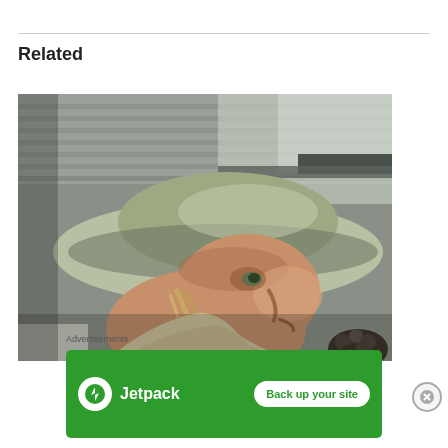Related
[Figure (photo): Close-up photo of a man wearing a wide-brimmed hat, viewed from below, with a metal roof/shed structure in the background. The man has light skin and is wearing a cream-colored jacket.]
Advertisements
[Figure (infographic): Jetpack advertisement banner on a green background. Shows Jetpack logo (lightning bolt in circle) and text 'Jetpack' on left, and a white rounded button reading 'Back up your site' on the right.]